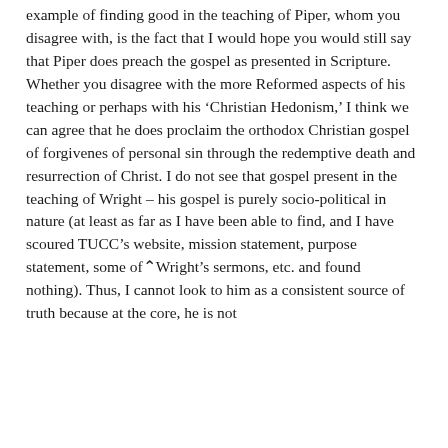example of finding good in the teaching of Piper, whom you disagree with, is the fact that I would hope you would still say that Piper does preach the gospel as presented in Scripture. Whether you disagree with the more Reformed aspects of his teaching or perhaps with his 'Christian Hedonism,' I think we can agree that he does proclaim the orthodox Christian gospel of forgivenes of personal sin through the redemptive death and resurrection of Christ. I do not see that gospel present in the teaching of Wright – his gospel is purely socio-political in nature (at least as far as I have been able to find, and I have scoured TUCC's website, mission statement, purpose statement, some of Wright's sermons, etc. and found nothing). Thus, I cannot look to him as a consistent source of truth because at the core, he is not